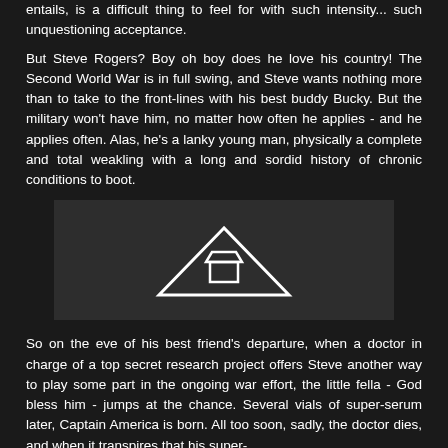entails, is a difficult thing to feel for with such intensity... such unquestioning acceptance.
But Steve Rogers? Boy oh boy does he love his country! The Second World War is in full swing, and Steve wants nothing more than to take to the front-lines with his best buddy Bucky. But the military won't have him, no matter how often he applies - and he applies often. Alas, he's a lanky young man, physically a complete and total weakling with a long and sordid history of chronic conditions to boot.
[Figure (other): A video thumbnail placeholder showing a triangle/play icon on a dark gray background]
So on the eve of his best friend's departure, when a doctor in charge of a top secret research project offers Steve another way to play some part in the ongoing war effort, the little fella - God bless him - jumps at the chance. Several vials of super-serum later, Captain America is born. All too soon, sadly, the doctor dies, and when it transpires that his super-